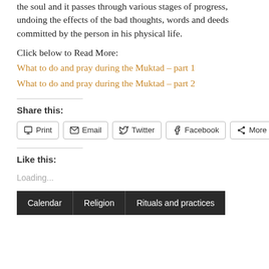the soul and it passes through various stages of progress, undoing the effects of the bad thoughts, words and deeds committed by the person in his physical life.
Click below to Read More:
What to do and pray during the Muktad – part 1
What to do and pray during the Muktad – part 2
Share this:
Print | Email | Twitter | Facebook | More
Like this:
Loading...
Calendar | Religion | Rituals and practices